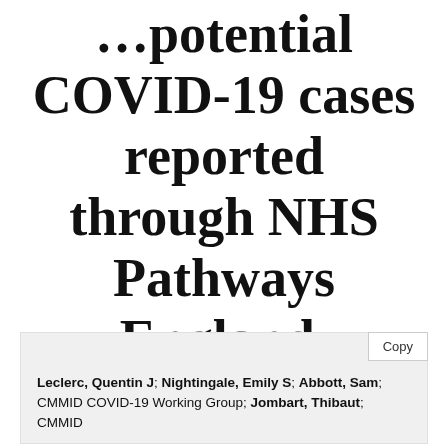… potential COVID-19 cases reported through NHS Pathways England.
Leclerc, Quentin J; Nightingale, Emily S; Abbott, Sam; CMMID COVID-19 Working Group; Jombart, Thibaut; CMMID COVID-19 Working Group; (2020) [citation continues]